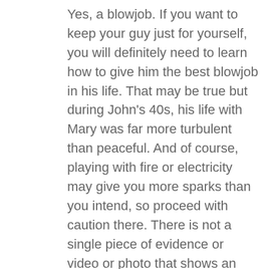Yes, a blowjob. If you want to keep your guy just for yourself, you will definitely need to learn how to give him the best blowjob in his life. That may be true but during John's 40s, his life with Mary was far more turbulent than peaceful. And of course, playing with fire or electricity may give you more sparks than you intend, so proceed with caution there. There is not a single piece of evidence or video or photo that shows an unconscious or incapacitated woman being sexually assaulted. Carrie Bradshaw and her three best friends explore the tough role of being a sexually active single woman in the new millennium. 7. The problems of being a women: Sex and the City has followed up on women's issues like no other franchise in history, from divorce to infertility, adoption, breast cancer or even problems in bed. Every day of yours would be filled with excitement and you are going to love your life even more. Not many snaps to make a profile, hardly any more to